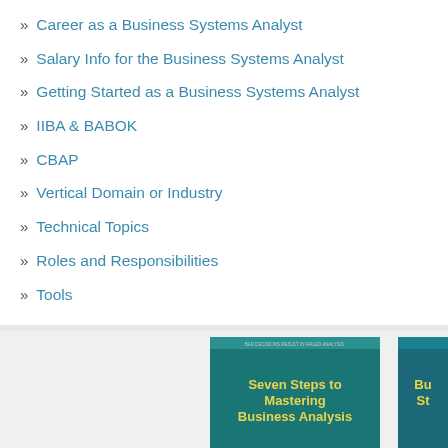» Career as a Business Systems Analyst
» Salary Info for the Business Systems Analyst
» Getting Started as a Business Systems Analyst
» IIBA & BABOK
» CBAP
» Vertical Domain or Industry
» Technical Topics
» Roles and Responsibilities
» Tools
[Figure (photo): Book covers at the bottom of the page: 'Seven Steps to Mastering Business Analysis' and a partially visible second book starting with 'Bu St']